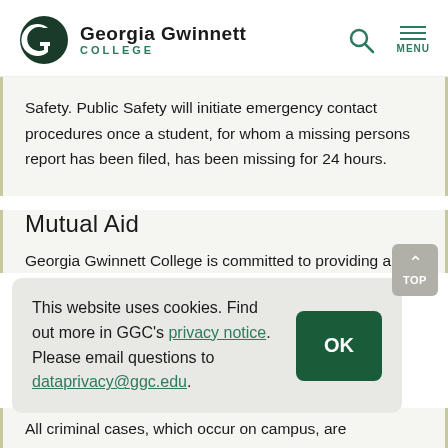Georgia Gwinnett COLLEGE
Safety. Public Safety will initiate emergency contact procedures once a student, for whom a missing persons report has been filed, has been missing for 24 hours.
Mutual Aid
Georgia Gwinnett College is committed to providing an
This website uses cookies. Find out more in GGC's privacy notice. Please email questions to dataprivacy@ggc.edu.
All criminal cases, which occur on campus, are